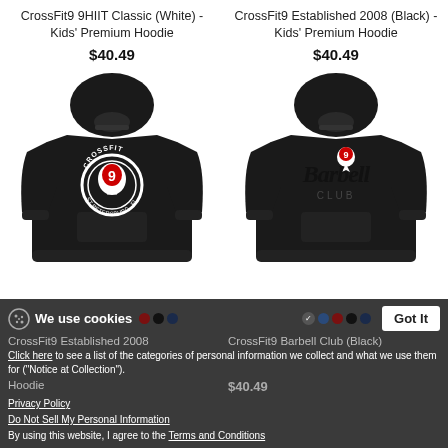CrossFit9 9HIIT Classic (White) - Kids' Premium Hoodie
$40.49
[Figure (photo): Black kids' premium hoodie with CrossFit9 circular logo in white and red]
CrossFit9 Established 2008 (Black) - Kids' Premium Hoodie
$40.49
[Figure (photo): Black kids' premium hoodie with Barbell Club script logo in black with red pin icon]
We use cookies
CrossFit9 Established 2008
CrossFit9 Barbell Club (Black)
Click here to see a list of the categories of personal information we collect and what we use them for ("Notice at Collection").
Hoodie
$40.49
$40.49
Privacy Policy
Do Not Sell My Personal Information
By using this website, I agree to the Terms and Conditions